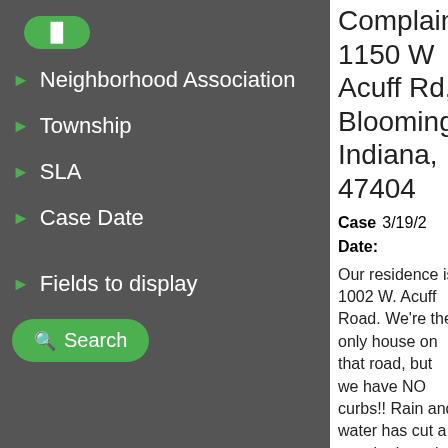[Figure (screenshot): Green rounded button at top of left panel (partially visible)]
Neighborhood Association
Township
SLA
Case Date
Fields to display
Search
Complaints 1150 W Acuff Rd, Bloomington, Indiana, 47404
Case Date: 3/19/2...
Our residence is 1002 W. Acuff Road. We're the only house on that road, but we have NO curbs!! Rain and water has cut a trench along the road